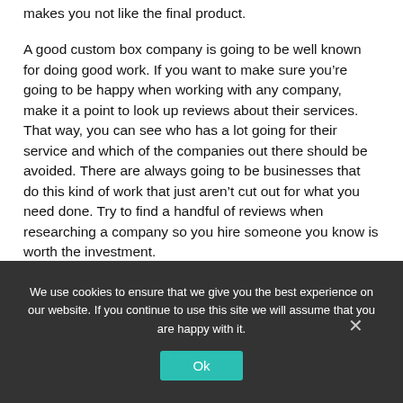makes you not like the final product.
A good custom box company is going to be well known for doing good work. If you want to make sure you’re going to be happy when working with any company, make it a point to look up reviews about their services. That way, you can see who has a lot going for their service and which of the companies out there should be avoided. There are always going to be businesses that do this kind of work that just aren’t cut out for what you need done. Try to find a handful of reviews when researching a company so you hire someone you know is worth the investment.
We use cookies to ensure that we give you the best experience on our website. If you continue to use this site we will assume that you are happy with it.
Ok